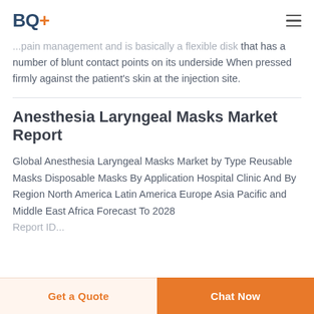BQ+
...pain management and is basically a flexible disk that has a number of blunt contact points on its underside When pressed firmly against the patient's skin at the injection site.
Anesthesia Laryngeal Masks Market Report
Global Anesthesia Laryngeal Masks Market by Type Reusable Masks Disposable Masks By Application Hospital Clinic And By Region North America Latin America Europe Asia Pacific and Middle East Africa Forecast To 2028
Report ID: 00005-1234 | Medical Device Segment...